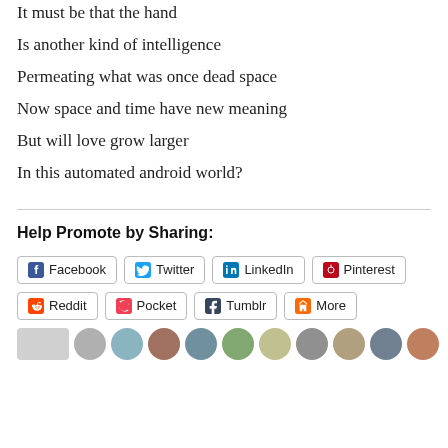It must be that the hand
Is another kind of intelligence
Permeating what was once dead space
Now space and time have new meaning
But will love grow larger
In this automated android world?
Help Promote by Sharing:
Facebook  Twitter  LinkedIn  Pinterest  Reddit  Pocket  Tumblr  More